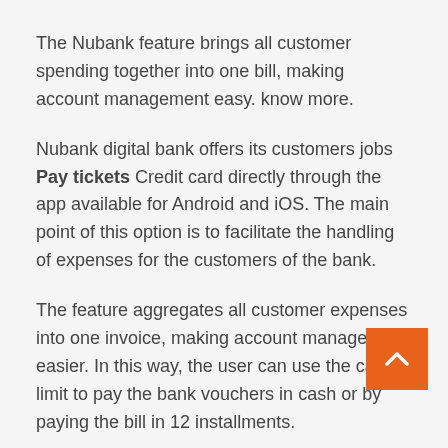The Nubank feature brings all customer spending together into one bill, making account management easy. know more.
Nubank digital bank offers its customers jobs Pay tickets Credit card directly through the app available for Android and iOS. The main point of this option is to facilitate the handling of expenses for the customers of the bank.
The feature aggregates all customer expenses into one invoice, making account management easier. In this way, the user can use the card limit to pay the bank vouchers in cash or by paying the bill in 12 installments.
Now, the interest rate will vary according to the amount